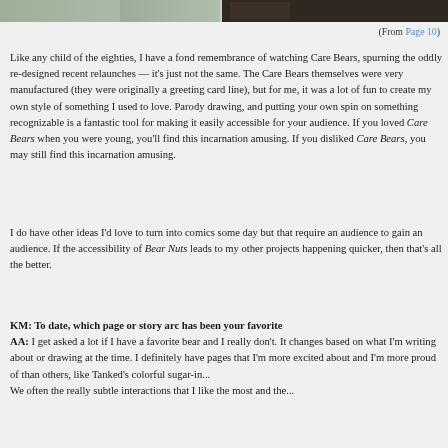[Figure (illustration): Top strip of a comic illustration showing two panels side by side — left panel with greenish/grey figure, right panel with dark background and a figure.]
(From Page 10)
Like any child of the eighties, I have a fond remembrance of watching Care Bears, spurning the oddly re-designed recent relaunches — it's just not the same. The Care Bears themselves were very manufactured (they were originally a greeting card line), but for me, it was a lot of fun to create my own style of something I used to love. Parody drawing, and putting your own spin on something recognizable is a fantastic tool for making it easily accessible for your audience. If you loved Care Bears when you were young, you'll find this incarnation amusing. If you disliked Care Bears, you may still find this incarnation amusing.
I do have other ideas I'd love to turn into comics some day but that require an audience to gain an audience. If the accessibility of Bear Nuts leads to my other projects happening quicker, then that's all the better.
KM: To date, which page or story arc has been your favorite to draw?
AA: I get asked a lot if I have a favorite bear and I really don't. It changes based on what I'm writing about or drawing at the time. I definitely have pages that I'm more excited about and I'm more proud of than others, like Tanked's colorful sugar-in... We often the really subtle interactions that I like the most and the...